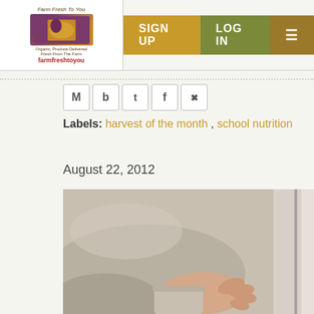Farm Fresh To You — SIGN UP | LOG IN
Labels: harvest of the month , school nutrition
August 22, 2012
[Figure (photo): Close-up photograph of a person's hand resting on their lap, wearing a gray jacket or blazer.]